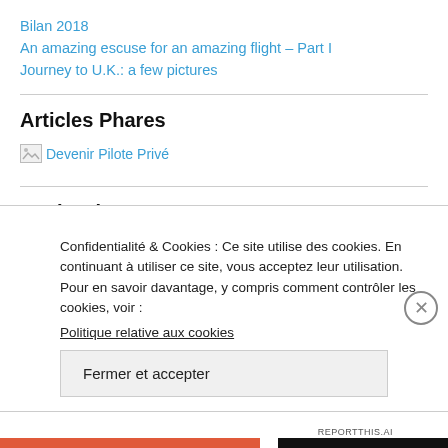Bilan 2018
An amazing escuse for an amazing flight – Part I
Journey to U.K.: a few pictures
Articles Phares
[Figure (illustration): Broken image placeholder linking to 'Devenir Pilote Privé']
Catégories
Sélectionner une catégorie
Confidentialité & Cookies : Ce site utilise des cookies. En continuant à utiliser ce site, vous acceptez leur utilisation.
Pour en savoir davantage, y compris comment contrôler les cookies, voir :
Politique relative aux cookies
Fermer et accepter